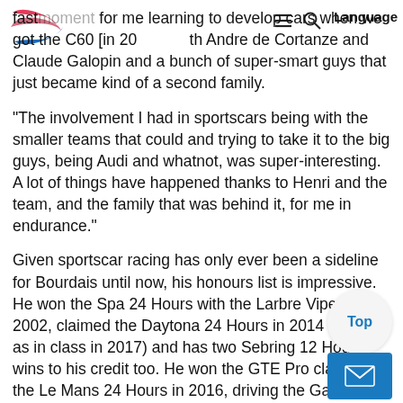Language
fast moment for me learning to develop cars when we got the C60 [in 20 th Andre de Cortanze and Claude Galopin and a bunch of super-smart guys that just became kind of a second family.
“The involvement I had in sportscars being with the smaller teams that could and trying to take it to the big guys, being Audi and whatnot, was super-interesting. A lot of things have happened thanks to Henri and the team, and the family that was behind it, for me in endurance.”
Given sportscar racing has only ever been a sideline for Bourdais until now, his honours list is impressive. He won the Spa 24 Hours with the Larbre Viper in 2002, claimed the Daytona 24 Hours in 2014 (as well as in class in 2017) and has two Sebring 12 Hour wins to his credit too. He won the GTE Pro class at the Le Mans 24 Hours in 2016, driving the Ganassi-run Ford GT, and finished as outright runner-up no less than three times driving for Peugeot.
It’s the Sebring wins he cherishes most though, having lapped with Action Express on an “incredible day” in 2015 – “When you